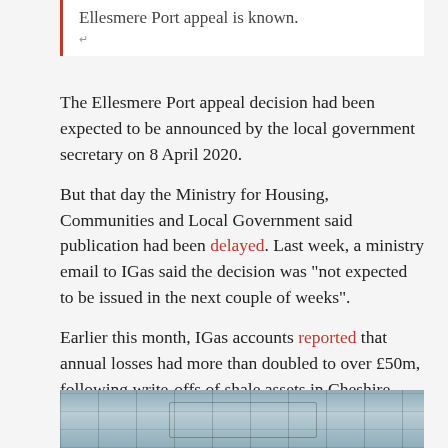Ellesmere Port appeal is known.
The Ellesmere Port appeal decision had been expected to be announced by the local government secretary on 8 April 2020.
But that day the Ministry for Housing, Communities and Local Government said publication had been delayed. Last week, a ministry email to IGas said the decision was “not expected to be issued in the next couple of weeks”.
Earlier this month, IGas accounts reported that annual losses had more than doubled to over £50m, following write-offs of shale assets in Cheshire, Warrington and Greater Manchester.
[Figure (photo): Partial view of a photo strip at the bottom of the page, showing what appears to be an industrial or drilling site with a grid-like structure.]